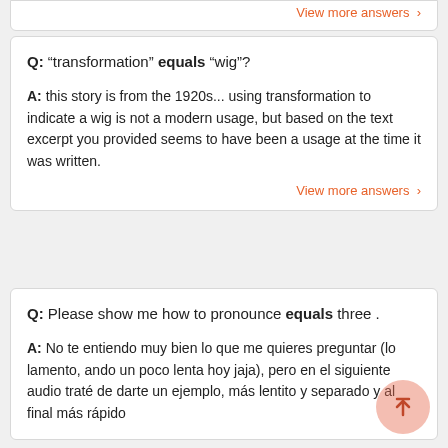View more answers >
Q: "transformation" equals "wig"?
A: this story is from the 1920s... using transformation to indicate a wig is not a modern usage, but based on the text excerpt you provided seems to have been a usage at the time it was written.
View more answers >
Q: Please show me how to pronounce equals three .
A: No te entiendo muy bien lo que me quieres preguntar (lo lamento, ando un poco lenta hoy jaja), pero en el siguiente audio traté de darte un ejemplo, más lentito y separado y al final más rápido
Espero que te sirva, si tienes alguna otra duda me dices y trataré de ayudarte en lo que pueda :)